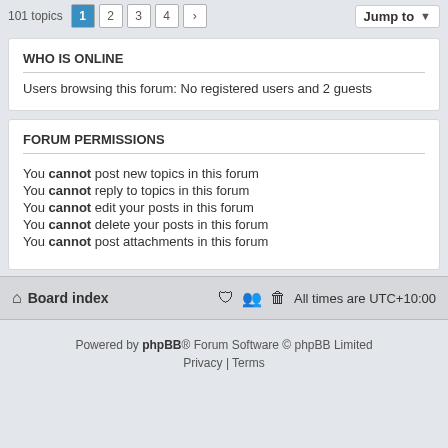101 topics  1 2 3 4 >   Jump to
WHO IS ONLINE
Users browsing this forum: No registered users and 2 guests
FORUM PERMISSIONS
You cannot post new topics in this forum
You cannot reply to topics in this forum
You cannot edit your posts in this forum
You cannot delete your posts in this forum
You cannot post attachments in this forum
Board index   All times are UTC+10:00
Powered by phpBB® Forum Software © phpBB Limited
Privacy | Terms